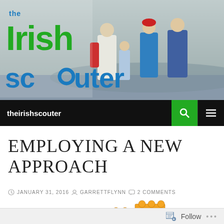[Figure (photo): The Irish Scouter blog header banner showing four people standing outdoors on a hillside with cloudy sky, overlaid with the blog logo 'the Irish scouter' in green and blue text]
theirishscouter
EMPLOYING A NEW APPROACH
JANUARY 31, 2016  GARRETTFLYNN  2 COMMENTS
[Figure (photo): Orange LEGO bricks arranged in a staircase/building pattern on a white background]
Follow ...